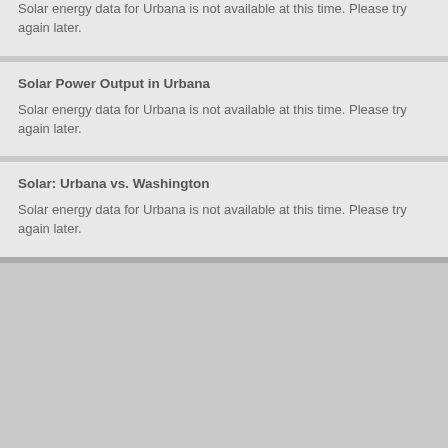Solar energy data for Urbana is not available at this time. Please try again later.
Solar Power Output in Urbana
Solar energy data for Urbana is not available at this time. Please try again later.
Solar: Urbana vs. Washington
Solar energy data for Urbana is not available at this time. Please try again later.